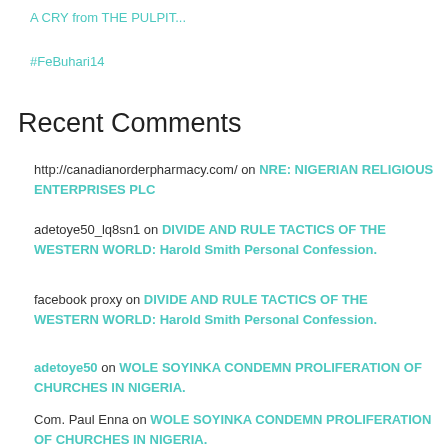A CRY from THE PULPIT...
#FeBuhari14
Recent Comments
http://canadianorderpharmacy.com/ on NRE: NIGERIAN RELIGIOUS ENTERPRISES PLC
adetoye50_lq8sn1 on DIVIDE AND RULE TACTICS OF THE WESTERN WORLD: Harold Smith Personal Confession.
facebook proxy on DIVIDE AND RULE TACTICS OF THE WESTERN WORLD: Harold Smith Personal Confession.
adetoye50 on WOLE SOYINKA CONDEMN PROLIFERATION OF CHURCHES IN NIGERIA.
Com. Paul Enna on WOLE SOYINKA CONDEMN PROLIFERATION OF CHURCHES IN NIGERIA.